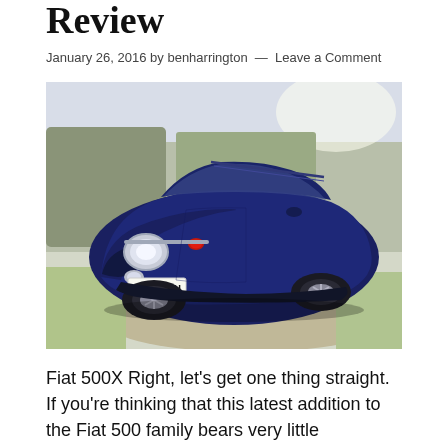Review
January 26, 2016 by benharrington — Leave a Comment
[Figure (photo): Blue Fiat 500X SUV parked on a dirt road with trees and frosty grass in the background. Registration plate reads RV15 JXH.]
Fiat 500X Right, let's get one thing straight. If you're thinking that this latest addition to the Fiat 500 family bears very little semblance to the cutesy 500